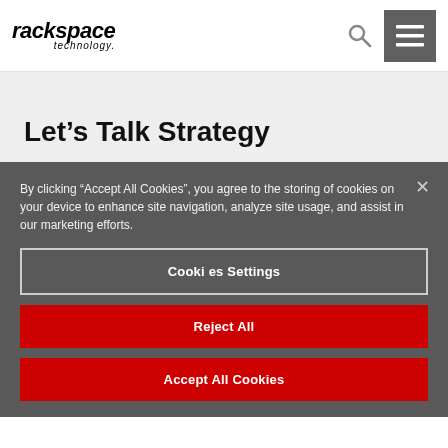rackspace technology
Let's Talk Strategy
By clicking “Accept All Cookies”, you agree to the storing of cookies on your device to enhance site navigation, analyze site usage, and assist in our marketing efforts.
Cookies Settings
Reject All
Accept All Cookies